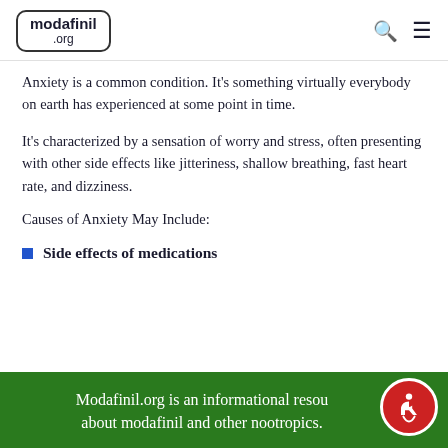modafinil .org
Anxiety is a common condition. It’s something virtually everybody on earth has experienced at some point in time.
It’s characterized by a sensation of worry and stress, often presenting with other side effects like jitteriness, shallow breathing, fast heart rate, and dizziness.
Causes of Anxiety May Include:
Side effects of medications
Modafinil.org is an informational resource about modafinil and other nootropics.